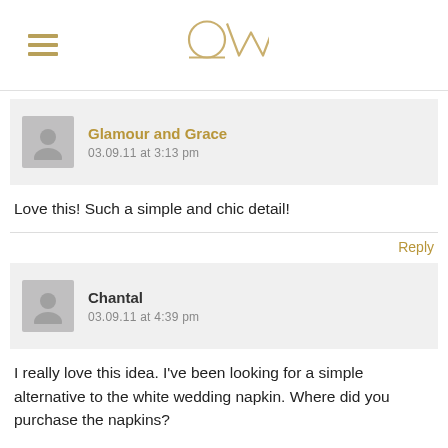OW logo with hamburger menu
Glamour and Grace
03.09.11 at 3:13 pm
Love this! Such a simple and chic detail!
Reply
Chantal
03.09.11 at 4:39 pm
I really love this idea. I've been looking for a simple alternative to the white wedding napkin. Where did you purchase the napkins?